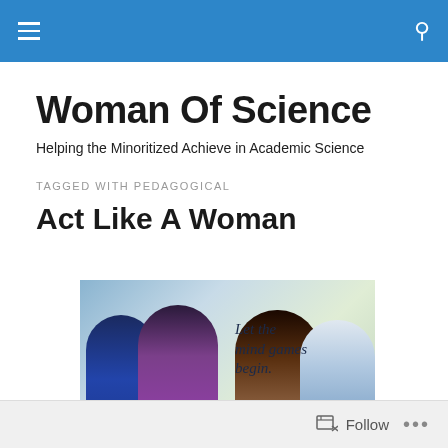Woman Of Science — navigation bar
Woman Of Science
Helping the Minoritized Achieve in Academic Science
TAGGED WITH PEDAGOGICAL
Act Like A Woman
[Figure (photo): Movie poster showing four people (two men, two women) with text 'Let the mind games begin.']
Follow